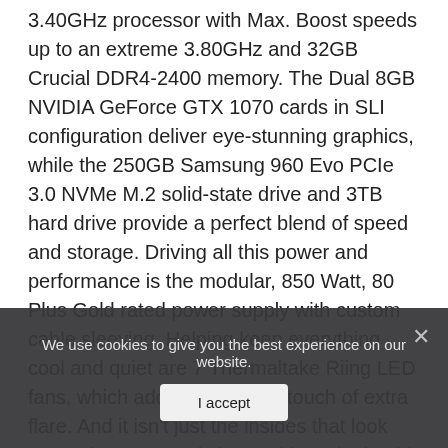3.40GHz processor with Max. Boost speeds up to an extreme 3.80GHz and 32GB Crucial DDR4-2400 memory. The Dual 8GB NVIDIA GeForce GTX 1070 cards in SLI configuration deliver eye-stunning graphics, while the 250GB Samsung 960 Evo PCIe 3.0 NVMe M.2 solid-state drive and 3TB hard drive provide a perfect blend of speed and storage. Driving all this power and performance is the modular, 850 Watt, 80 Plus Gold rated power supply with custom cable sleeving. Helping keep everything cool and quiet are 7 Thermaltake Riing LED fans, which add just the right touch of extra flare. And it isn't just the insides that look great; the CLX Set is housed in a sleek mid-tower designed for maximum expandability and airflow, and the RGB Gaming Keyboard and Mouse provide comfortable,
We use cookies to give you the best experience on our website.
I accept